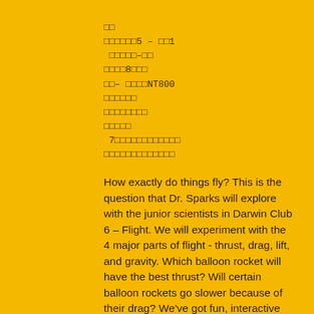□□
□□□□□□5 – □□1
 □□□□□–□□
□□□□8□□□
□□– □□□□NT800
□□□□□□
□□□□□□□□
□□□□□
 7□□□□□□□□□□□□
□□□□□□□□□□□□□
How exactly do things fly? This is the question that Dr. Sparks will explore with the junior scientists in Darwin Club 6 – Flight. We will experiment with the 4 major parts of flight - thrust, drag, lift, and gravity. Which balloon rocket will have the best thrust? Will certain balloon rockets go slower because of their drag? We've got fun, interactive experiments to test these questions out.